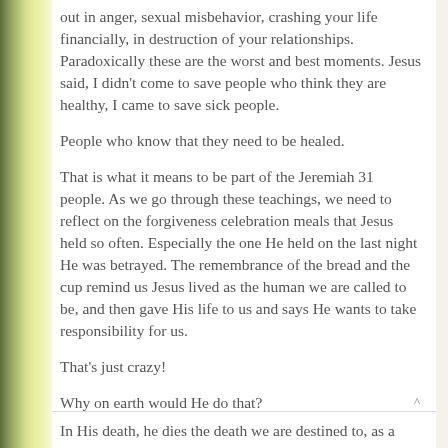out in anger, sexual misbehavior, crashing your life financially, in destruction of your relationships. Paradoxically these are the worst and best moments. Jesus said, I didn't come to save people who think they are healthy, I came to save sick people.
People who know that they need to be healed.
That is what it means to be part of the Jeremiah 31 people. As we go through these teachings, we need to reflect on the forgiveness celebration meals that Jesus held so often. Especially the one He held on the last night He was betrayed. The remembrance of the bread and the cup remind us Jesus lived as the human we are called to be, and then gave His life to us and says He wants to take responsibility for us.
That's just crazy!
Why on earth would He do that?
In His death, he dies the death we are destined to, as a